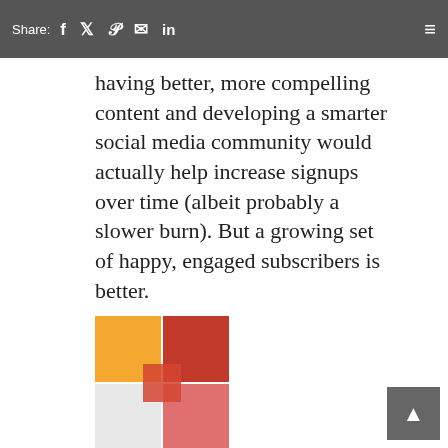Share: f y P ✉ in ≡
having better, more compelling content and developing a smarter social media community would actually help increase signups over time (albeit probably a slower burn). But a growing set of happy, engaged subscribers is better.
[Figure (illustration): Abstract geometric avatar with orange, red, white and pink squares arranged in a grid pattern]
vickykid
2016-11-09 23:53
has joined #ask-ben-tollady
[Figure (illustration): Abstract geometric avatar with dark red, crimson, salmon and beige diagonal shapes]